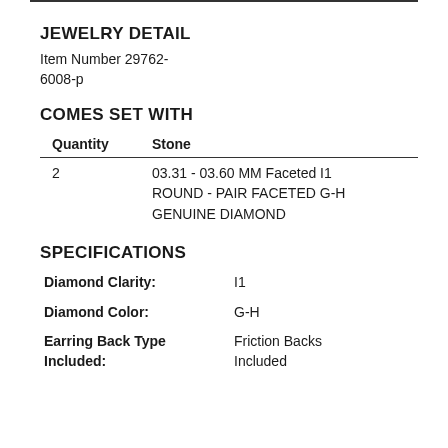JEWELRY DETAIL
Item Number 29762-6008-p
COMES SET WITH
| Quantity | Stone |
| --- | --- |
| 2 | 03.31 - 03.60 MM Faceted I1 ROUND - PAIR FACETED G-H GENUINE DIAMOND |
SPECIFICATIONS
Diamond Clarity: I1
Diamond Color: G-H
Earring Back Type Included: Friction Backs Included